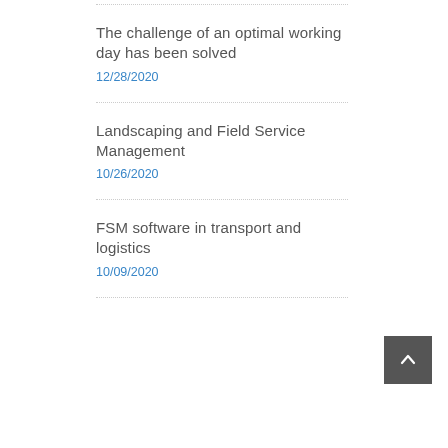The challenge of an optimal working day has been solved
12/28/2020
Landscaping and Field Service Management
10/26/2020
FSM software in transport and logistics
10/09/2020